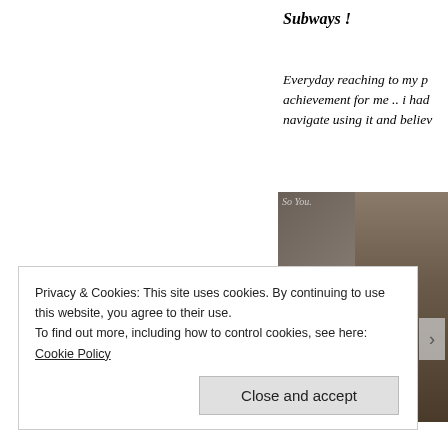Subways !
Everyday reaching to my p achievement for me .. i had navigate using it and believ
[Figure (photo): Person taking a selfie in a subway station next to a green 'KEEP P CLEA' sign. Text 'So You.' visible at top.]
Privacy & Cookies: This site uses cookies. By continuing to use this website, you agree to their use.
To find out more, including how to control cookies, see here: Cookie Policy
Close and accept